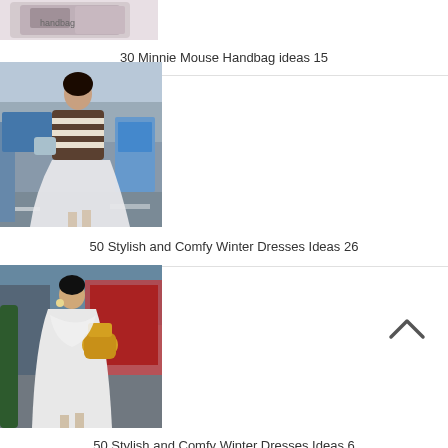[Figure (photo): Partial view of a Minnie Mouse handbag item at top of page]
30 Minnie Mouse Handbag ideas 15
[Figure (photo): Woman in striped sweater and white flowing skirt walking on city street]
50 Stylish and Comfy Winter Dresses Ideas 26
[Figure (photo): Woman in white outfit holding yellow bag, street style]
50 Stylish and Comfy Winter Dresses Ideas 6